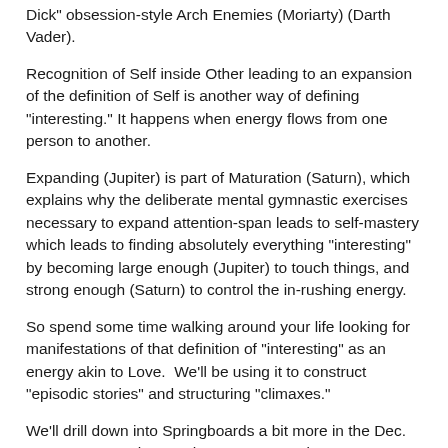Dick" obsession-style Arch Enemies (Moriarty) (Darth Vader).
Recognition of Self inside Other leading to an expansion of the definition of Self is another way of defining "interesting." It happens when energy flows from one person to another.
Expanding (Jupiter) is part of Maturation (Saturn), which explains why the deliberate mental gymnastic exercises necessary to expand attention-span leads to self-mastery which leads to finding absolutely everything "interesting" by becoming large enough (Jupiter) to touch things, and strong enough (Saturn) to control the in-rushing energy.
So spend some time walking around your life looking for manifestations of that definition of "interesting" as an energy akin to Love.  We'll be using it to construct "episodic stories" and structuring "climaxes."
We'll drill down into Springboards a bit more in the Dec. 10, 2013 post, Theme-Character Integration Part 5 - Fame and Glory - When You're Rich They Think You Really Know.